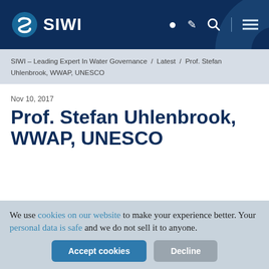SIWI
SIWI – Leading Expert In Water Governance / Latest / Prof. Stefan Uhlenbrook, WWAP, UNESCO
Nov 10, 2017
Prof. Stefan Uhlenbrook, WWAP, UNESCO
We use cookies on our website to make your experience better. Your personal data is safe and we do not sell it to anyone.
Accept cookies
Decline